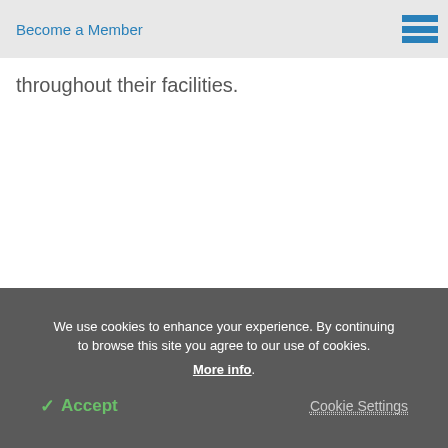Become a Member
throughout their facilities.
We use cookies to enhance your experience. By continuing to browse this site you agree to our use of cookies. More info.
✓ Accept
Cookie Settings